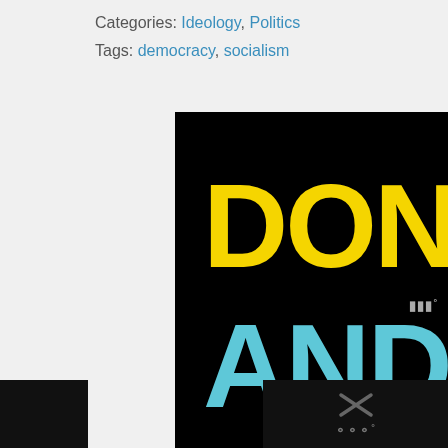Categories: Ideology, Politics
Tags: democracy, socialism
[Figure (other): Ad Council / NHTSA public service advertisement on black background. Large yellow bold text reads 'DON'T TEXT', large cyan/teal bold text reads 'AND', followed by a red car emoji. Bottom center shows the Ad Council and NHTSA logos. Close X button in top right corner.]